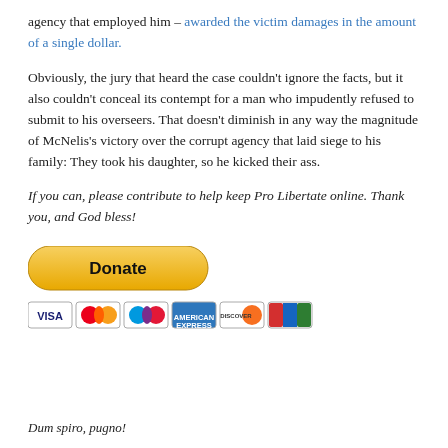agency that employed him – awarded the victim damages in the amount of a single dollar.
Obviously, the jury that heard the case couldn't ignore the facts, but it also couldn't conceal its contempt for a man who impudently refused to submit to his overseers. That doesn't diminish in any way the magnitude of McNelis's victory over the corrupt agency that laid siege to his family: They took his daughter, so he kicked their ass.
If you can, please contribute to help keep Pro Libertate online. Thank you, and God bless!
[Figure (other): PayPal Donate button with accepted payment card icons (Visa, Mastercard, Maestro, American Express, Discover, JCB)]
Dum spiro, pugno!